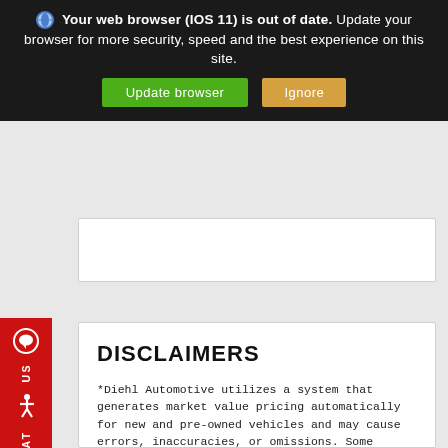Your web browser (IOS 11) is out of date. Update your browser for more security, speed and the best experience on this site. Update browser | Ignore
[Figure (screenshot): Partial white card area visible in gray background]
[Figure (infographic): Red vertical chat sidebar with chat icon and CHAT WITH US text]
DISCLAIMERS
*Diehl Automotive utilizes a system that generates market value pricing automatically for new and pre-owned vehicles and may cause errors, inaccuracies, or omissions. Some aftermarket additions or accessories may not be displayed properly. For accuracy, please contact the dealer for real-time, accurate pricing. All vehicles are subject to prior sale and financing is subject to approved credit. Price may vary due to market value adjustments. All discounted internet prices are discounted from MSRP, and does not include any